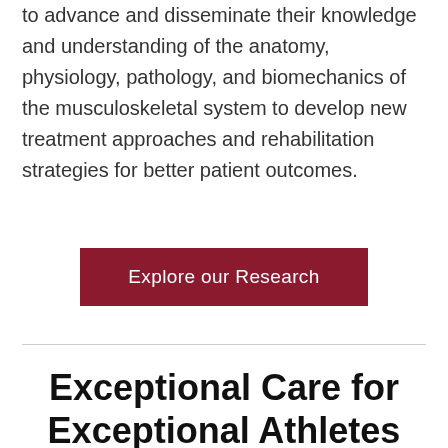to advance and disseminate their knowledge and understanding of the anatomy, physiology, pathology, and biomechanics of the musculoskeletal system to develop new treatment approaches and rehabilitation strategies for better patient outcomes.
Explore our Research
Exceptional Care for Exceptional Athletes